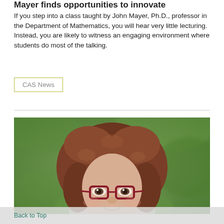Mayer finds opportunities to innovate
If you step into a class taught by John Mayer, Ph.D., professor in the Department of Mathematics, you will hear very little lecturing. Instead, you are likely to witness an engaging environment where students do most of the talking.
CAS News
[Figure (photo): Headshot photo of a woman with curly reddish-brown hair and red-framed glasses, smiling, with a green blurred outdoor background.]
Back to Top